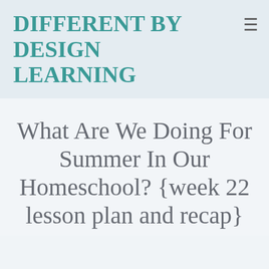DIFFERENT BY DESIGN LEARNING
What Are We Doing For Summer In Our Homeschool? {week 22 lesson plan and recap}